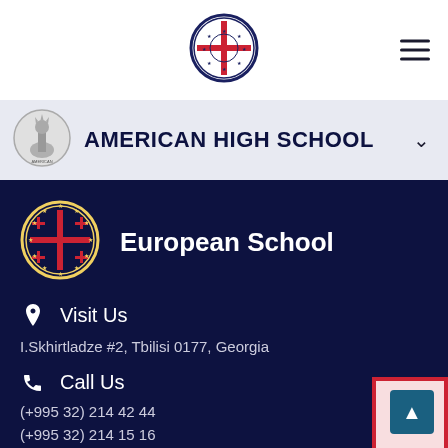[Figure (logo): European School circular seal/crest logo centered in top nav bar]
[Figure (illustration): Hamburger menu icon (three horizontal lines) in top right of nav bar]
[Figure (logo): Statue of Liberty style circular logo for American High School in grey header]
AMERICAN HIGH SCHOOL
[Figure (logo): European School circular emblem with Georgian cross and EU stars in dark navy footer]
European School
Visit Us
I.Skhirtladze #2, Tbilisi 0177, Georgia
Call Us
(+995 32) 214 42 44
(+995 32) 214 15 16
(+995 32) 230 59 64